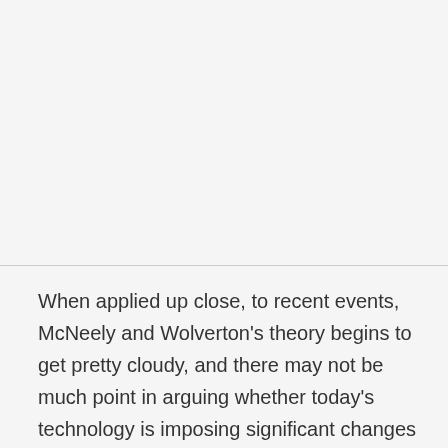When applied up close, to recent events, McNeely and Wolverton's theory begins to get pretty cloudy, and there may not be much point in arguing whether today's technology is imposing significant changes on how we think about what we know according to their